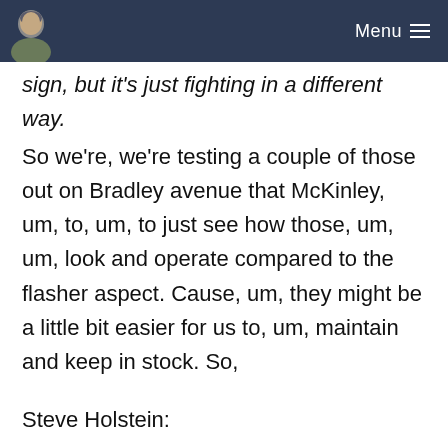Menu
sign, but it's just fighting in a different way. So we're, we're testing a couple of those out on Bradley avenue that McKinley, um, to, um, to just see how those, um, um, look and operate compared to the flasher aspect. Cause, um, they might be a little bit easier for us to, um, maintain and keep in stock. So,
Steve Holstein: